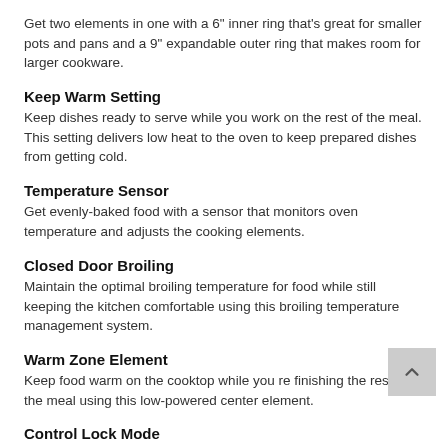Get two elements in one with a 6" inner ring that's great for smaller pots and pans and a 9" expandable outer ring that makes room for larger cookware.
Keep Warm Setting
Keep dishes ready to serve while you work on the rest of the meal. This setting delivers low heat to the oven to keep prepared dishes from getting cold.
Temperature Sensor
Get evenly-baked food with a sensor that monitors oven temperature and adjusts the cooking elements.
Closed Door Broiling
Maintain the optimal broiling temperature for food while still keeping the kitchen comfortable using this broiling temperature management system.
Warm Zone Element
Keep food warm on the cooktop while you re finishing the rest of the meal using this low-powered center element.
Control Lock Mode
Disable the control panel to avoid unintended use and